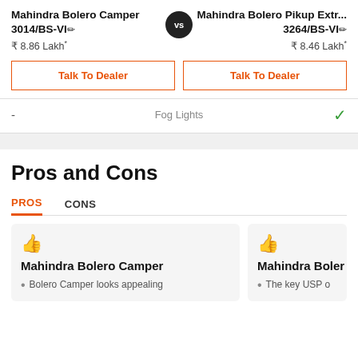Mahindra Bolero Camper 3014/BS-VI
₹ 8.86 Lakh*
Mahindra Bolero Pikup Extr... 3264/BS-VI
₹ 8.46 Lakh*
Talk To Dealer
Talk To Dealer
Fog Lights
-
Pros and Cons
PROS
CONS
Mahindra Bolero Camper
Bolero Camper looks appealing
Mahindra Boler
The key USP o